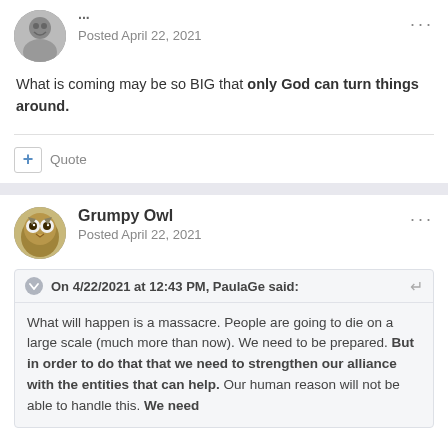[Figure (photo): Avatar photo of user, partially visible at top, grayscale portrait of older man]
Posted April 22, 2021
What is coming may be so BIG that only God can turn things around.
+ Quote
[Figure (photo): Avatar photo of Grumpy Owl, image of an owl]
Grumpy Owl
Posted April 22, 2021
On 4/22/2021 at 12:43 PM, PaulaGe said:
What will happen is a massacre. People are going to die on a large scale (much more than now). We need to be prepared. But in order to do that that we need to strengthen our alliance with the entities that can help. Our human reason will not be able to handle this. We need